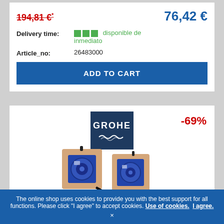194,81 €* [strikethrough] | 76,42 €
Delivery time: disponible de inmediato
Article_no: 26483000
ADD TO CART
[Figure (logo): GROHE brand logo in dark navy square with wave symbol]
-69%
[Figure (photo): Two Grohe plumbing valve/fitting components in beige housing with blue circular elements and black tubing]
The online shop uses cookies to provide you with the best support for all functions. Please click "I agree" to accept cookies. Use of cookies. I agree. ×